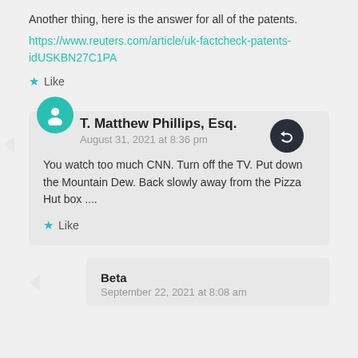Another thing, here is the answer for all of the patents. https://www.reuters.com/article/uk-factcheck-patents-idUSKBN27C1PA
★ Like
T. Matthew Phillips, Esq.
August 31, 2021 at 8:36 pm
You watch too much CNN. Turn off the TV. Put down the Mountain Dew. Back slowly away from the Pizza Hut box ....
★ Like
Beta
September 22, 2021 at 8:08 am